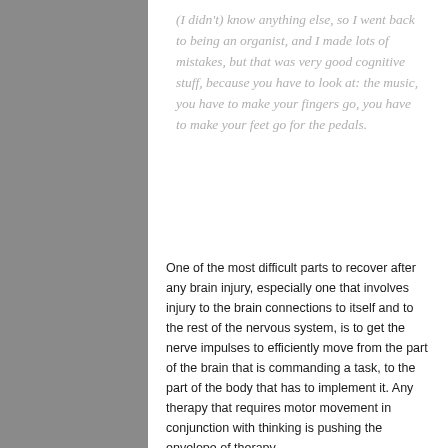(I didn't) know anything else, so I went back to being an organist, and I made lots of mistakes, but that was very good cognitive stuff, because you have to look at: the music, you have to make your fingers go, you have to make your feet go for the pedals.
One of the most difficult parts to recover after any brain injury, especially one that involves injury to the brain connections to itself and to the rest of the nervous system, is to get the nerve impulses to efficiently move from the part of the brain that is commanding a task, to the part of the body that has to implement it. Any therapy that requires motor movement in conjunction with thinking is pushing the envelope of therapy